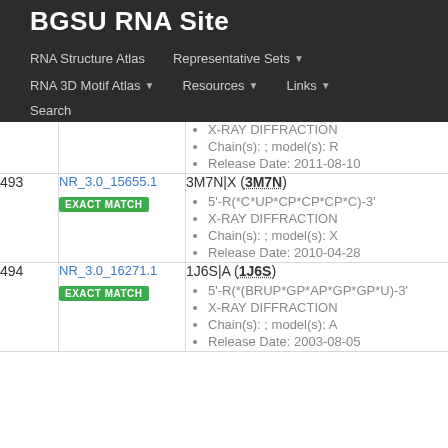BGSU RNA Site
RNA Structure Atlas   Representative Sets   RNA 3D Motif Atlas   Resources   Links   Search
| # | ID | Details |
| --- | --- | --- |
|  |  | X-RAY DIFFRACTION
Chain(s): ; model(s): R
Release Date: 2011-08-10 |
| 493 | NR_3.0_15655.1 EXACT MATCH | 3M7N|X (3M7N)
5'-R(*C*UP*CP*CP*CP*C)-3'
X-RAY DIFFRACTION
Chain(s): ; model(s): X
Release Date: 2010-04-28 |
| 494 | NR_3.0_16271.1 EXACT MATCH | 1J6S|A (1J6S)
5'-R(*(BRUP*GP*AP*GP*GP*U)-3'
X-RAY DIFFRACTION
Chain(s): ; model(s): A
Release Date: 2003-08-05 |